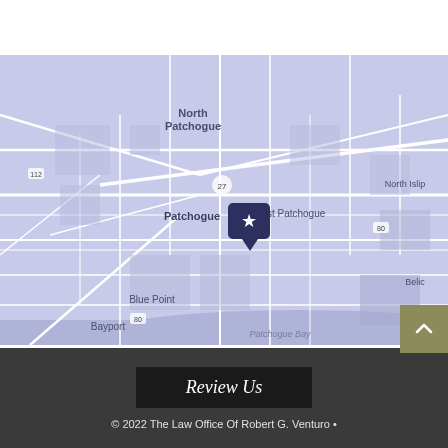[Figure (map): Street map of Patchogue area in periwinkle/lavender color scheme showing North Patchogue, East Patchogue, Blue Point, Bayport, North Islip, Bellmore areas with a dark navy star map pin marker over Patchogue center]
Review Us
© 2022 The Law Office Of Robert G. Venturo •